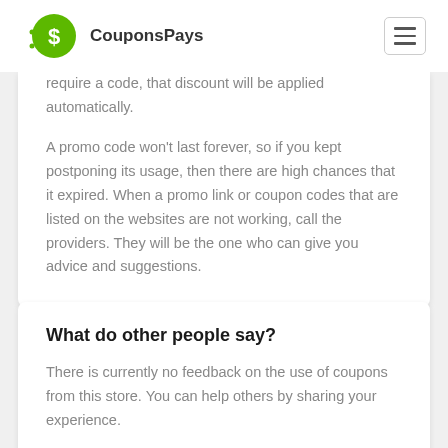CouponsPays
require a code, that discount will be applied automatically.
A promo code won't last forever, so if you kept postponing its usage, then there are high chances that it expired. When a promo link or coupon codes that are listed on the websites are not working, call the providers. They will be the one who can give you advice and suggestions.
What do other people say?
There is currently no feedback on the use of coupons from this store. You can help others by sharing your experience.